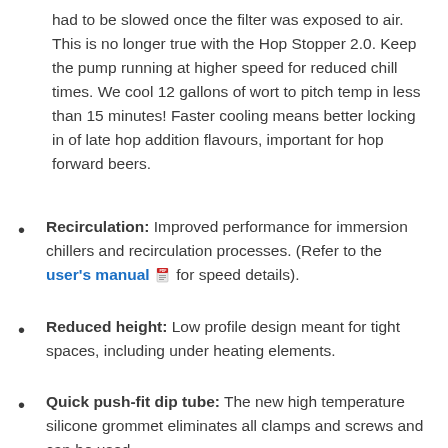had to be slowed once the filter was exposed to air. This is no longer true with the Hop Stopper 2.0. Keep the pump running at higher speed for reduced chill times. We cool 12 gallons of wort to pitch temp in less than 15 minutes! Faster cooling means better locking in of late hop addition flavours, important for hop forward beers.
Recirculation: Improved performance for immersion chillers and recirculation processes. (Refer to the user's manual [pdf icon] for speed details).
Reduced height: Low profile design meant for tight spaces, including under heating elements.
Quick push-fit dip tube: The new high temperature silicone grommet eliminates all clamps and screws and can be used